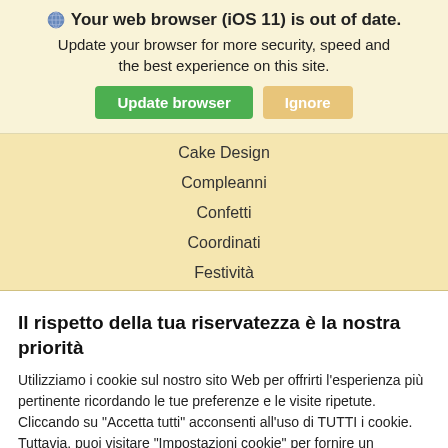Your web browser (iOS 11) is out of date. Update your browser for more security, speed and the best experience on this site.
[Figure (screenshot): Browser update warning banner with Update browser (green) and Ignore (yellow) buttons]
Cake Design
Compleanni
Confetti
Coordinati
Festività
Il rispetto della tua riservatezza è la nostra priorità
Utilizziamo i cookie sul nostro sito Web per offrirti l'esperienza più pertinente ricordando le tue preferenze e le visite ripetute. Cliccando su "Accetta tutti" acconsenti all'uso di TUTTI i cookie. Tuttavia, puoi visitare "Impostazioni cookie" per fornire un consenso controllato.
Cookie Settings | Accetta | Reject All | Read More